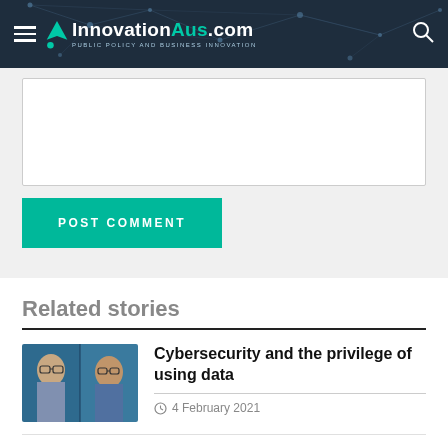InnovationAus.com — PUBLIC POLICY AND BUSINESS INNOVATION
[Figure (screenshot): Comment text area input field (empty, white background)]
POST COMMENT
Related stories
[Figure (photo): Two male headshots side by side, both wearing glasses and suits]
Cybersecurity and the privilege of using data
4 February 2021